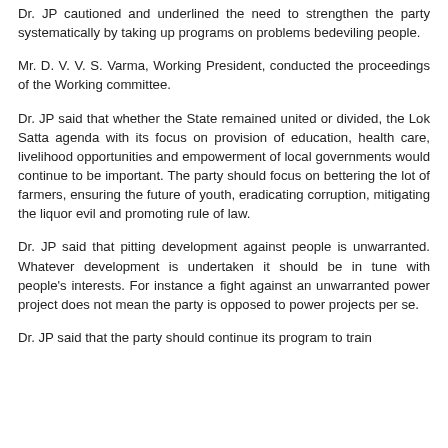Dr. JP cautioned and underlined the need to strengthen the party systematically by taking up programs on problems bedeviling people.
Mr. D. V. V. S. Varma, Working President, conducted the proceedings of the Working committee.
Dr. JP said that whether the State remained united or divided, the Lok Satta agenda with its focus on provision of education, health care, livelihood opportunities and empowerment of local governments would continue to be important. The party should focus on bettering the lot of farmers, ensuring the future of youth, eradicating corruption, mitigating the liquor evil and promoting rule of law.
Dr. JP said that pitting development against people is unwarranted. Whatever development is undertaken it should be in tune with people's interests. For instance a fight against an unwarranted power project does not mean the party is opposed to power projects per se.
Dr. JP said that the party should continue its program to train